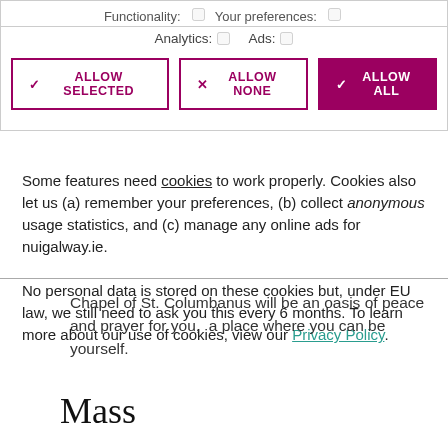Functionality: ☐  Your preferences: ☐
Analytics: ☐  Ads: ☐
[Figure (screenshot): Cookie consent dialog with three buttons: ALLOW SELECTED, ALLOW NONE, ALLOW ALL]
Some features need cookies to work properly. Cookies also let us (a) remember your preferences, (b) collect anonymous usage statistics, and (c) manage any online ads for nuigalway.ie.

No personal data is stored on these cookies but, under EU law, we still need to ask you this every 6 months. To learn more about our use of cookies, view our Privacy Policy.
Chapel of St. Columbanus will be an oasis of peace and prayer for you,  a place where you can be yourself.
Mass